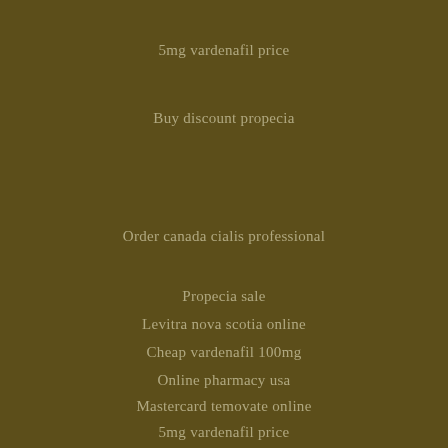5mg vardenafil price
Buy discount propecia
Order canada cialis professional
Propecia sale
Levitra nova scotia online
Cheap vardenafil 100mg
Online pharmacy usa
Mastercard temovate online
5mg vardenafil price